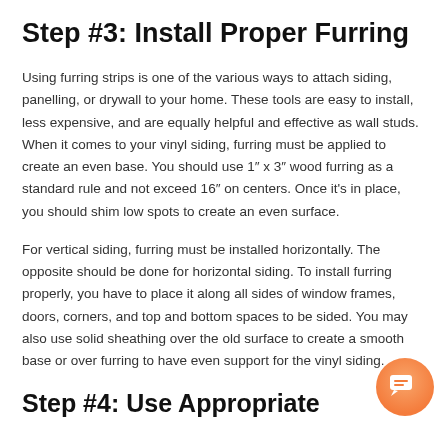Step #3: Install Proper Furring
Using furring strips is one of the various ways to attach siding, panelling, or drywall to your home. These tools are easy to install, less expensive, and are equally helpful and effective as wall studs. When it comes to your vinyl siding, furring must be applied to create an even base. You should use 1″ x 3″ wood furring as a standard rule and not exceed 16″ on centers. Once it's in place, you should shim low spots to create an even surface.
For vertical siding, furring must be installed horizontally. The opposite should be done for horizontal siding. To install furring properly, you have to place it along all sides of window frames, doors, corners, and top and bottom spaces to be sided. You may also use solid sheathing over the old surface to create a smooth base or over furring to have even support for the vinyl siding.
Step #4: Use Appropriate